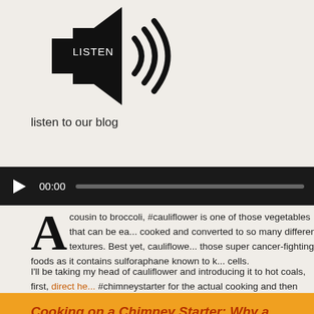[Figure (illustration): A black speaker/loudspeaker icon with sound waves and the word LISTEN written on it in grunge font]
listen to our blog
[Figure (screenshot): Audio player bar with dark background, play button triangle, time 00:00 and a progress bar]
A cousin to broccoli, #cauliflower is one of those vegetables that can be ea... cooked and converted to so many different textures. Best yet, cauliflowe... those super cancer-fighting foods as it contains sulforaphane known to k... cells.
I'll be taking my head of cauliflower and introducing it to hot coals, first, direct he... #chimneystarter for the actual cooking and then directly on the hot coals to give... "meat" char. No matter what color you enjoy – white, yellow, purple – grab a hea... chimney starter ready, as I show you how to use a chimney starter as an actual g...
Cooking on a Chimney Starter: Why a Chimn... Starter?